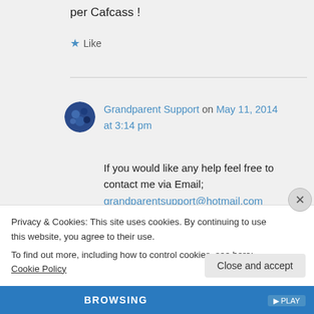per Cafcass !
★ Like
Grandparent Support on May 11, 2014 at 3:14 pm
If you would like any help feel free to contact me via Email;
grandparentsupport@hotmail.com
Privacy & Cookies: This site uses cookies. By continuing to use this website, you agree to their use.
To find out more, including how to control cookies, see here: Cookie Policy
Close and accept